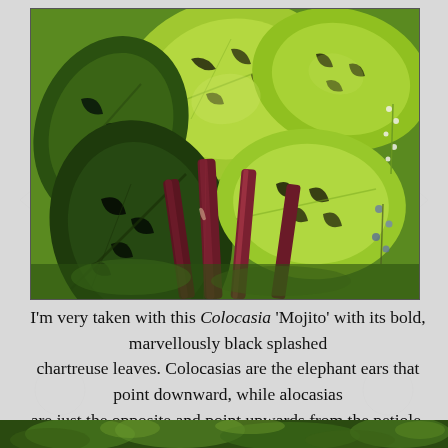[Figure (photo): Close-up photograph of Colocasia 'Mojito' plant showing large, bold chartreuse leaves with dramatic black splashes, and dark reddish-purple petioles/stems. Bright green tropical foliage fills the frame with some small white flowers visible on the right side.]
I'm very taken with this Colocasia 'Mojito' with its bold, marvellously black splashed chartreuse leaves. Colocasias are the elephant ears that point downward, while alocasias are just the opposite and point upwards from the petiole. Either way, sun, warmth, water.
[Figure (photo): Partial view of a garden scene at the bottom strip of the page, showing green foliage.]